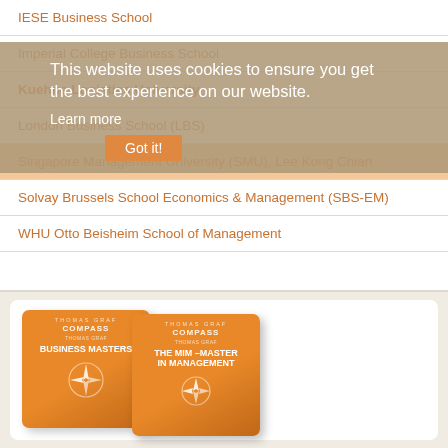IESE Business School
Imperial College Business School
Kuehne Logistics University
London Business School (LBS)
Singapore Management University (SMU), Lee Kong Chian
Solvay Brussels School Economics & Management (SBS-EM)
WHU Otto Beisheim School of Management
[Figure (photo): Two book covers: 'Business Masters' and 'The MIM - Master in Management', both published by Compass, authored by Thomas Graf, with orange covers featuring a compass rose emblem.]